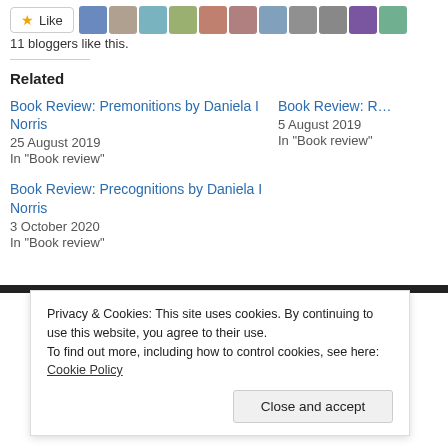[Figure (other): Like button with star icon and 11 blogger avatar thumbnails]
11 bloggers like this.
Related
Book Review: Premonitions by Daniela I Norris
25 August 2019
In "Book review"
Book Review: R...
5 August 2019
In "Book review"
Book Review: Precognitions by Daniela I Norris
3 October 2020
In "Book review"
Privacy & Cookies: This site uses cookies. By continuing to use this website, you agree to their use.
To find out more, including how to control cookies, see here: Cookie Policy
Close and accept